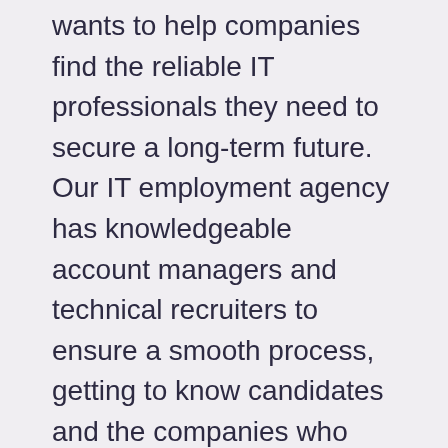wants to help companies find the reliable IT professionals they need to secure a long-term future. Our IT employment agency has knowledgeable account managers and technical recruiters to ensure a smooth process, getting to know candidates and the companies who work with us. Our IT executive recruiters work hard to ensure every connection is suitable for long-term relationships.
Count on Our IT Recruitment Agency
When you work with our IT recruitment services, you can trust you'll find the right professional to fill your position. We're always